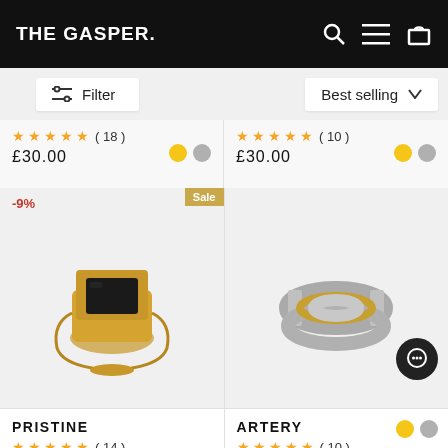THE GASPER.
Filter | Best selling
★★★★½ ( 18 ) £30.00
★★★★★ ( 10 ) £30.00
[Figure (photo): Gold signet ring with black square stone center, shown on white/grey background. Badge: -9% discount and Sale label.]
[Figure (photo): Silver and gold chain ring on grey background.]
PRISTINE
★★★★★ ( 14 )
£32.00
ARTERY
★★★★½ ( 10 )
£30.00